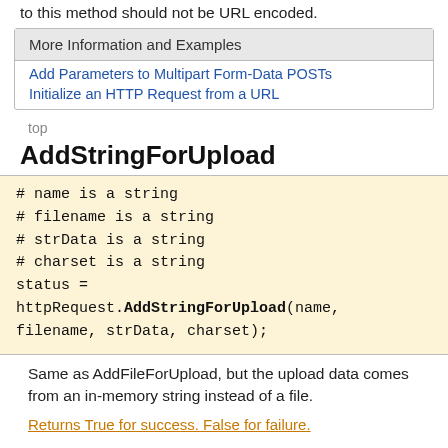to this method should not be URL encoded.
| More Information and Examples |
| --- |
| Add Parameters to Multipart Form-Data POSTs |
| Initialize an HTTP Request from a URL |
top
AddStringForUpload
# name is a string
# filename is a string
# strData is a string
# charset is a string
status =
httpRequest.AddStringForUpload(name,
filename, strData, charset);
Same as AddFileForUpload, but the upload data comes from an in-memory string instead of a file.
Returns True for success. False for failure.